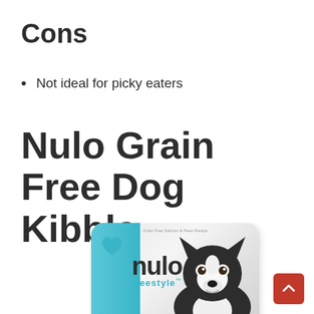Cons
Not ideal for picky eaters
Nulo Grain Free Dog Kibble
[Figure (photo): Product photo of Nulo Freestyle dog kibble bag with a Boston Terrier dog, featuring the blue stripe and nulo freestyle branding, and a smaller nulo logo at the bottom.]